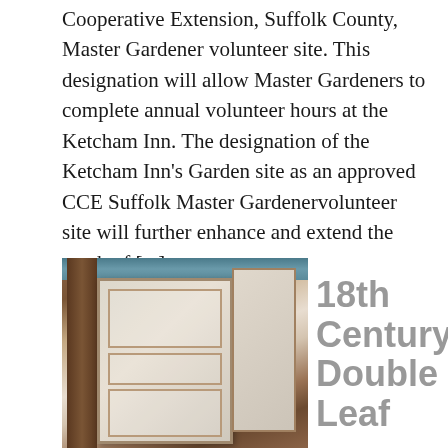Cooperative Extension, Suffolk County, Master Gardener volunteer site. This designation will allow Master Gardeners to complete annual volunteer hours at the Ketcham Inn. The designation of the Ketcham Inn's Garden site as an approved CCE Suffolk Master Gardenervolunteer site will further enhance and extend the reach of [...]
[Figure (photo): Photo of an 18th century double-leaf wooden door, showing worn white/cream painted panels with visible aging and a wooden frame, leaning or mounted at an angle.]
18th Century Double Leaf...